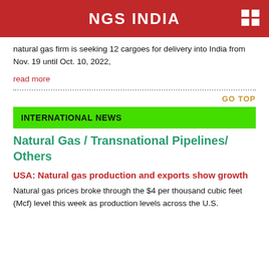NGS INDIA
natural gas firm is seeking 12 cargoes for delivery into India from Nov. 19 until Oct. 10, 2022,
read more
GO TOP
INTERNATIONAL NEWS
Natural Gas / Transnational Pipelines/ Others
USA: Natural gas production and exports show growth
Natural gas prices broke through the $4 per thousand cubic feet (Mcf) level this week as production levels across the U.S.